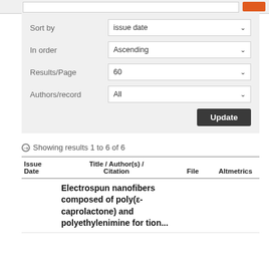[Figure (screenshot): Top search bar with orange search button]
| Sort by | issue date |
| --- | --- |
| In order | Ascending |
| Results/Page | 60 |
| Authors/record | All |
Showing results 1 to 6 of 6
| Issue Date | Title / Author(s) / Citation | File | Altmetrics |
| --- | --- | --- | --- |
|  | Electrospun nanofibers composed of poly(ε-caprolactone) and polyethylenimine for tion... |  |  |